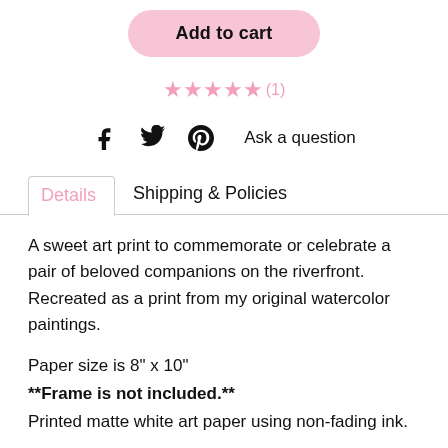Add to cart
★★★★★(1)
Ask a question
Details
Shipping & Policies
A sweet art print to commemorate or celebrate a pair of beloved companions on the riverfront. Recreated as a print from my original watercolor paintings.
Paper size is 8" x 10"
**Frame is not included.**
Printed matte white art paper using non-fading ink.